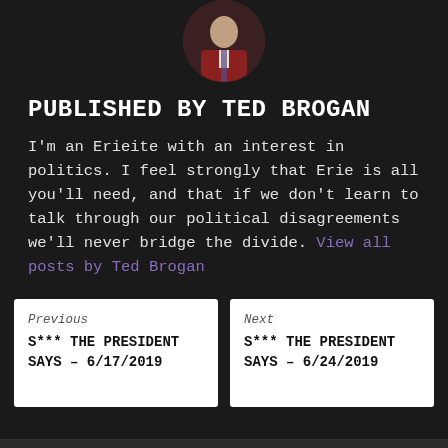[Figure (photo): Circular avatar photo of Ted Brogan wearing a dark red/maroon sweater and tie]
PUBLISHED BY TED BROGAN
I'm an Erieite with an interest in politics. I feel strongly that Erie is all you'll need, and that if we don't learn to talk through our political disagreements we'll never bridge the divide. View all posts by Ted Brogan
Previous
S*** THE PRESIDENT SAYS – 6/17/2019
Next
S*** THE PRESIDENT SAYS – 6/24/2019